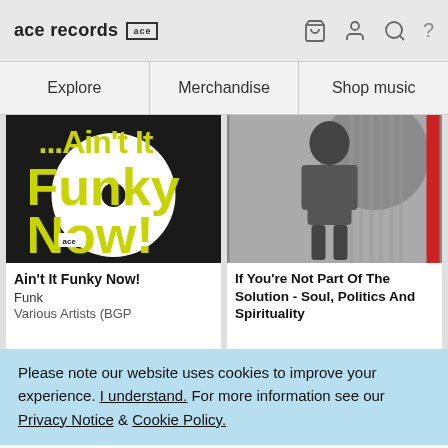ace records [ace logo] [cart] [user] [search] [?]
Explore | Merchandise | Shop music
[Figure (photo): Album cover for Ain't It Funky Now! showing bold yellow text on dark background with a vinyl record graphic]
Ain't It Funky Now!
Funk
Various Artists (BGP
[Figure (photo): Album cover for If You're Not Part Of The Solution - Soul, Politics And Spirituality showing a black and white photo of a woman with an afro standing outdoors]
If You're Not Part Of The Solution - Soul, Politics And Spirituality
Please note our website uses cookies to improve your experience. I understand. For more information see our Privacy Notice & Cookie Policy.